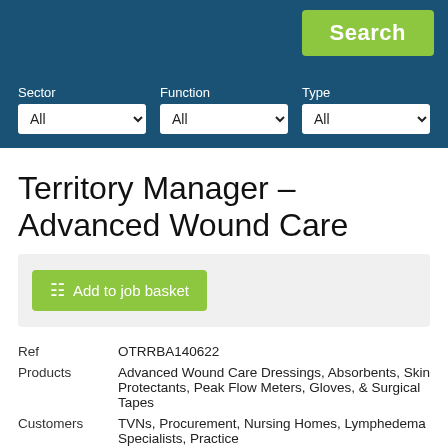[Figure (screenshot): Website header with dark blue background containing a green Search button, and three dropdown filter fields labeled Sector, Function, and Type, each set to All]
Territory Manager – Advanced Wound Care
[Figure (other): Green Add to job basket button inside a light grey box]
| Ref | OTRRBA140622 |
| Products | Advanced Wound Care Dressings, Absorbents, Skin Protectants, Peak Flow Meters, Gloves, & Surgical Tapes |
| Customers | TVNs, Procurement, Nursing Homes, Lymphedema Specialists, Practice |